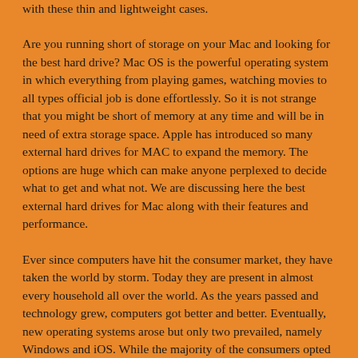with these thin and lightweight cases.
Are you running short of storage on your Mac and looking for the best hard drive? Mac OS is the powerful operating system in which everything from playing games, watching movies to all types official job is done effortlessly. So it is not strange that you might be short of memory at any time and will be in need of extra storage space. Apple has introduced so many external hard drives for MAC to expand the memory. The options are huge which can make anyone perplexed to decide what to get and what not. We are discussing here the best external hard drives for Mac along with their features and performance.
Ever since computers have hit the consumer market, they have taken the world by storm. Today they are present in almost every household all over the world. As the years passed and technology grew, computers got better and better. Eventually, new operating systems arose but only two prevailed, namely Windows and iOS. While the majority of the consumers opted for Windows desktop machines, the iOS or Mac users have steadily remained extremely loyal due to the exceptional quality